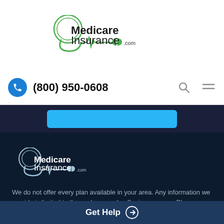[Figure (logo): MedicareInsurance.com logo with stethoscope graphic, dark text on white background]
(800) 950-0608
[Figure (logo): MedicareInsurance.com logo in white/light on dark navy background]
We do not offer every plan available in your area. Any information we provide is limited to those plans we do offer in your area. Please contact Medicare.gov or 1-800-MEDICARE to get information on all of your options.
Get Help